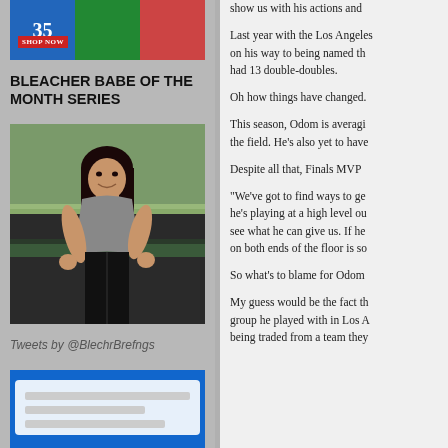[Figure (photo): Sports jersey advertisement with blue jersey showing number 35, shop now button, green jersey, and red jersey sections]
BLEACHER BABE OF THE MONTH SERIES
[Figure (photo): Woman in gray t-shirt and black jeans posing at a baseball stadium, smiling at camera]
Tweets by @BlechrBrefngs
[Figure (photo): Blue advertisement banner at bottom of left column]
show us with his actions and
Last year with the Los Angeles on his way to being named th had 13 double-doubles.
Oh how things have changed.
This season, Odom is averagi the field. He's also yet to have
Despite all that, Finals MVP
"We've got to find ways to ge he's playing at a high level ou see what he can give us. If he on both ends of the floor is so
So what's to blame for Odom
My guess would be the fact th group he played with in Los A being traded from a team they